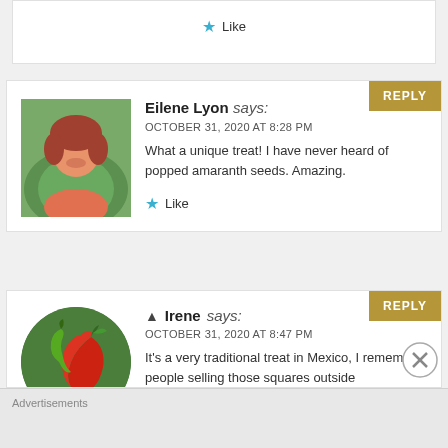Like
Eilene Lyon says:
OCTOBER 31, 2020 AT 8:28 PM
What a unique treat! I have never heard of popped amaranth seeds. Amazing.
Like
Irene says:
OCTOBER 31, 2020 AT 8:47 PM
It's a very traditional treat in Mexico, I remember people selling those squares outside
Advertisements